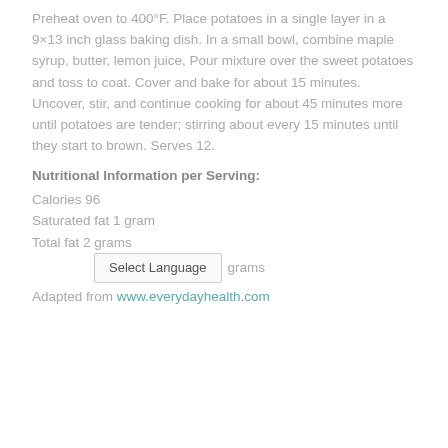Preheat oven to 400°F. Place potatoes in a single layer in a 9×13 inch glass baking dish. In a small bowl, combine maple syrup, butter, lemon juice, Pour mixture over the sweet potatoes and toss to coat. Cover and bake for about 15 minutes. Uncover, stir, and continue cooking for about 45 minutes more until potatoes are tender; stirring about every 15 minutes until they start to brown. Serves 12.
Nutritional Information per Serving:
Calories 96
Saturated fat 1 gram
Total fat 2 grams
Carbohydrates 18 grams
Adapted from www.everydayhealth.com